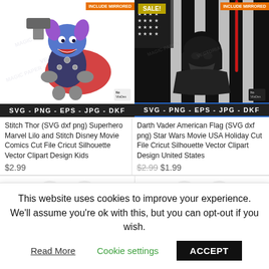[Figure (photo): Stitch Thor SVG product image - cartoon character dressed as Thor with hammer, on white background. Badge 'INCLUDE MIRRORED' in orange top right. Banner 'SVG - PNG - EPS - JPG - DKF' at bottom.]
[Figure (photo): Darth Vader American Flag SVG product image - Darth Vader silhouette with American flag and lightsaber on black background. SALE badge in yellow-gold top left. 'INCLUDE MIRRORED' badge top right. Banner 'SVG - PNG - EPS - JPG - DKF' at bottom with blue stripe.]
Stitch Thor (SVG dxf png) Superhero Marvel Lilo and Stitch Disney Movie Comics Cut File Cricut Silhouette Vector Clipart Design Kids
$2.99
Darth Vader American Flag (SVG dxf png) Star Wars Movie USA Holiday Cut File Cricut Silhouette Vector Clipart Design United States
$2.99 $1.99
This website uses cookies to improve your experience. We'll assume you're ok with this, but you can opt-out if you wish.
Read More   Cookie settings   ACCEPT